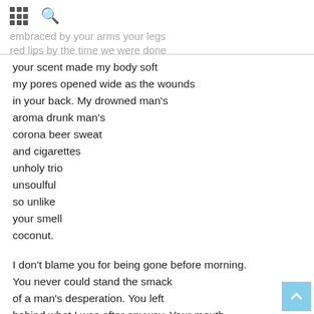embraced by your arms your legs red lips by the time we were done
your scent made my body soft
my pores opened wide as the wounds
in your back. My drowned man's
aroma drunk man's
corona beer sweat
and cigarettes
unholy trio
unsoulful
so unlike
your smell
coconut.

I don't blame you for being gone before morning.
You never could stand the smack
of a man's desperation. You left
behind what I was after anyway. Your mouth
your soft clutching tongue your soul
your arms
your scent